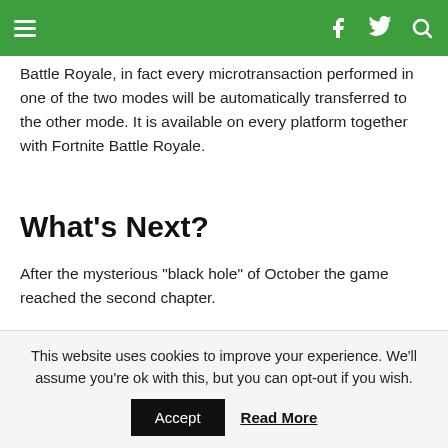Navigation bar with hamburger menu, Facebook, Twitter, and Search icons
Battle Royale, in fact every microtransaction performed in one of the two modes will be automatically transferred to the other mode. It is available on every platform together with Fortnite Battle Royale.
What's Next?
After the mysterious “black hole” of October the game reached the second chapter.
[Figure (screenshot): YouTube video embed thumbnail showing 'Fortnite Chapter 2 | Launch Trailer' with a character icon on black background]
This website uses cookies to improve your experience. We'll assume you're ok with this, but you can opt-out if you wish. Accept  Read More